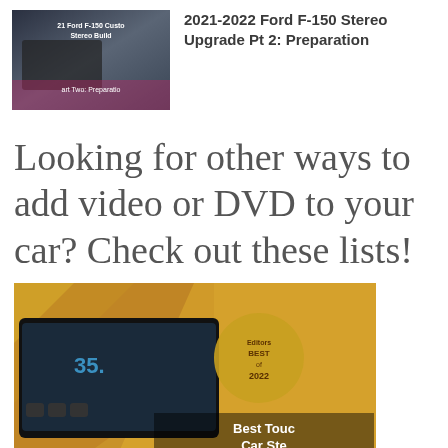[Figure (photo): Thumbnail image of a Ford F-150 stereo build video showing car interior with pink cables and text overlay '21 Ford F-150 Custom Stereo Build' and 'Part Two: Preparation']
2021-2022 Ford F-150 Stereo Upgrade Pt 2: Preparation
Looking for other ways to add video or DVD to your car? Check out these lists!
[Figure (photo): Image showing a touchscreen car stereo with a 'Best of 2022' badge and text 'Best Touch Screen Car Stereos' partially visible]
Best Touch Screen Car Stereos in